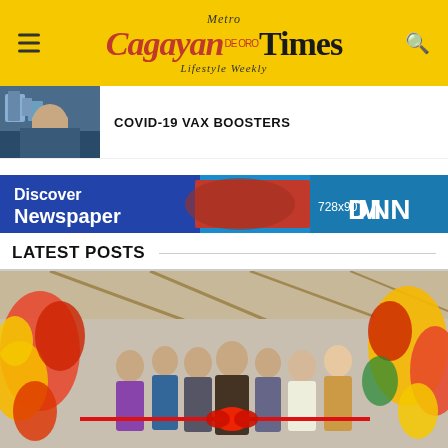Metro Cagayan Times - Lifestyle Weekly
COVID-19 VAX BOOSTERS
[Figure (screenshot): Advertisement banner: Discover Newspaper 728x90 MDNN]
LATEST POSTS
[Figure (photo): Group of people cutting a red ribbon at a ribbon-cutting ceremony, with floral arrangements on both sides]